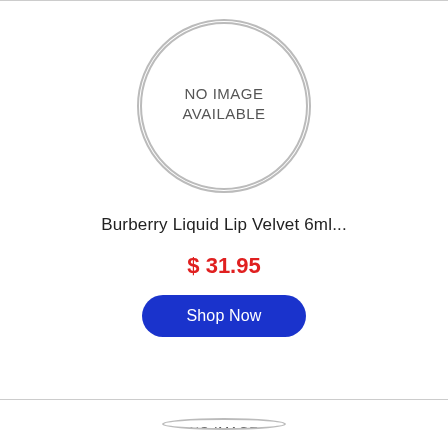[Figure (illustration): Circular placeholder image with text NO IMAGE AVAILABLE]
Burberry Liquid Lip Velvet 6ml...
$ 31.95
Shop Now
[Figure (illustration): Partial circular placeholder image with text NO IMAGE (cropped at bottom)]